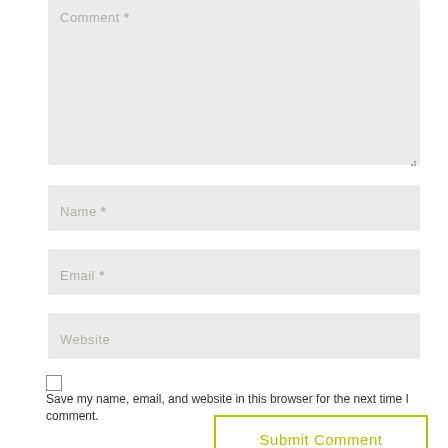Comment *
Name *
Email *
Website
Save my name, email, and website in this browser for the next time I comment.
Submit Comment